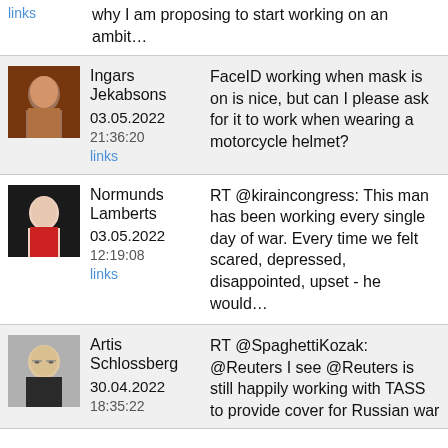links
why I am proposing to start working on an ambit...
[Figure (photo): Avatar photo of Ingars Jekabsons]
Ingars Jekabsons
03.05.2022
21:36:20
links
FaceID working when mask is on is nice, but can I please ask for it to work when wearing a motorcycle helmet?
[Figure (photo): Avatar photo of Normunds Lamberts]
Normunds Lamberts
03.05.2022
12:19:08
links
RT @kiraincongress: This man has been working every single day of war. Every time we felt scared, depressed, disappointed, upset - he would...
[Figure (photo): Avatar photo of Artis Schlossberg]
Artis Schlossberg
30.04.2022
18:35:22
RT @SpaghettiKozak: @Reuters I see @Reuters is still happily working with TASS to provide cover for Russian war